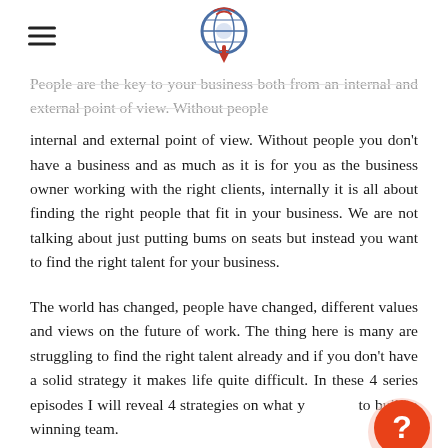[hamburger menu icon] [podcast logo]
People are the key to your business both from an internal and external point of view. Without people you don't have a business and as much as it is for you as the business owner working with the right clients, internally it is all about finding the right people that fit in your business. We are not talking about just putting bums on seats but instead you want to find the right talent for your business.
The world has changed, people have changed, different values and views on the future of work. The thing here is many are struggling to find the right talent already and if you don't have a solid strategy it makes life quite difficult. In these 4 series episodes I will reveal 4 strategies on what you need to build a winning team.